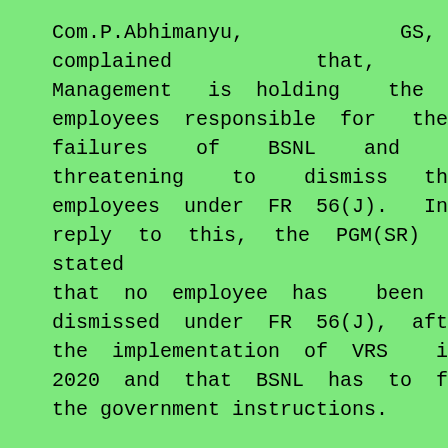Com.P.Abhimanyu, GS, complained that, the Management is holding the employees responsible for the failures of BSNL and is threatening to dismiss the employees under FR 56(J). In reply to this, the PGM(SR) stated that no employee has been dismissed under FR 56(J), after the implementation of VRS in 2020 and that BSNL has to follow the government instructions.
Finally, the Dy.CLC made an appeal to BSNLEU to withdraw the demonstration.